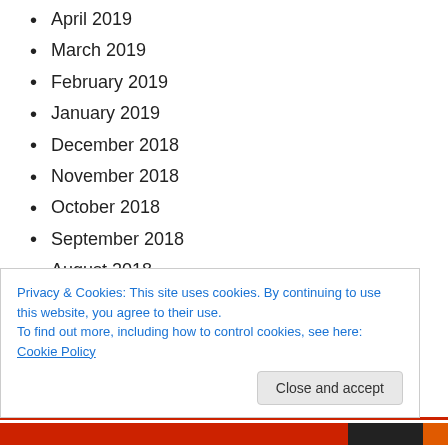April 2019
March 2019
February 2019
January 2019
December 2018
November 2018
October 2018
September 2018
August 2018
July 2018
June 2018
May 2018
Privacy & Cookies: This site uses cookies. By continuing to use this website, you agree to their use.
To find out more, including how to control cookies, see here: Cookie Policy